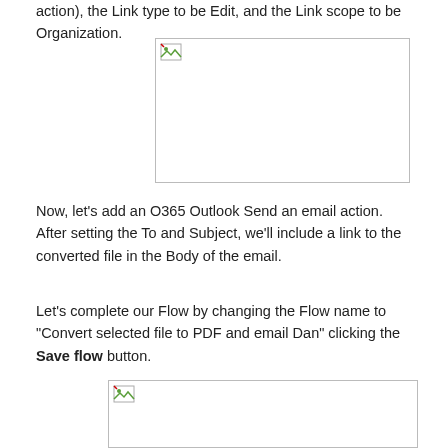action), the Link type to be Edit, and the Link scope to be Organization.
[Figure (screenshot): Screenshot placeholder (broken image) showing a settings or configuration dialog]
Now, let’s add an O365 Outlook Send an email action. After setting the To and Subject, we’ll include a link to the converted file in the Body of the email.
Let’s complete our Flow by changing the Flow name to “Convert selected file to PDF and email Dan” clicking the Save flow button.
[Figure (screenshot): Screenshot placeholder (broken image) showing the Flow naming and Save flow button interface]